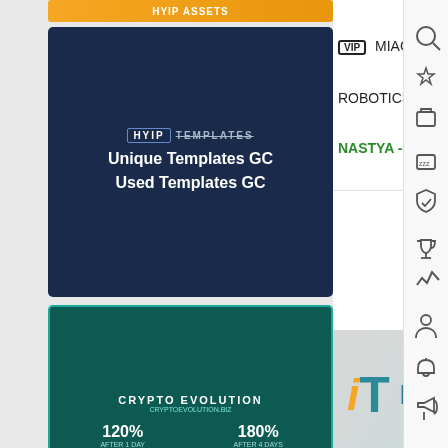[Figure (screenshot): Orange banner at top left, partially cropped]
[Figure (illustration): HYIP Templates advertisement card with dark blue background showing 'Unique Templates GC / Used Templates GC']
[Figure (illustration): Crypto Evolution advertisement card showing 120% AFTER 1 DAY, 180% AFTER 4 DAYS, 300% AFTER 8 DAYS on teal background]
VIP MIACONNECT - hello i'm Mia!
ROBOTICSONLINE - lucky ticket
NASTYA - I will write the best r
invest-tracin
[Figure (illustration): INVEST-TRACING logo banner with orange 'i', teal 'T', and text on gradient background]
Seasonal
dogex.land
3 hours ago
Worked: 1
Crypto